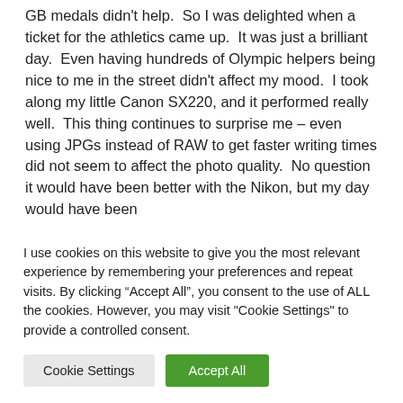GB medals didn't help.  So I was delighted when a ticket for the athletics came up.  It was just a brilliant day.  Even having hundreds of Olympic helpers being nice to me in the street didn't affect my mood.  I took along my little Canon SX220, and it performed really well.  This thing continues to surprise me – even using JPGs instead of RAW to get faster writing times did not seem to affect the photo quality.  No question it would have been better with the Nikon, but my day would have been
I use cookies on this website to give you the most relevant experience by remembering your preferences and repeat visits. By clicking "Accept All", you consent to the use of ALL the cookies. However, you may visit "Cookie Settings" to provide a controlled consent.